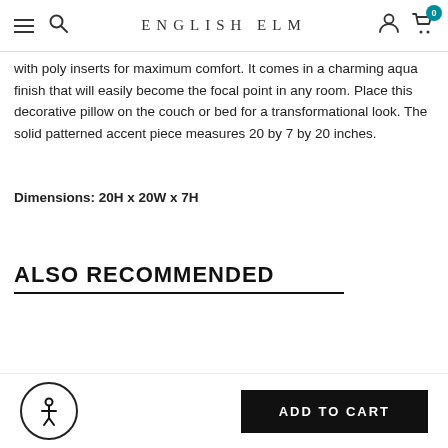ENGLISH ELM
with poly inserts for maximum comfort. It comes in a charming aqua finish that will easily become the focal point in any room. Place this decorative pillow on the couch or bed for a transformational look. The solid patterned accent piece measures 20 by 7 by 20 inches.
Dimensions: 20H x 20W x 7H
ALSO RECOMMENDED
ADD TO CART